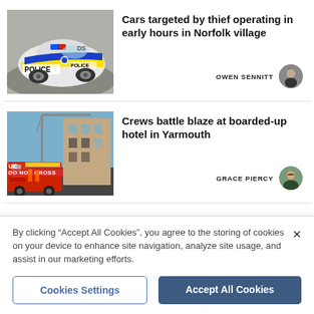[Figure (photo): Police car with blue and yellow livery, viewed from above-rear angle on a road]
Cars targeted by thief operating in early hours in Norfolk village
OWEN SENNITT
[Figure (photo): Fire engine and crew at a building fire scene, 'DO NOT CROSS' tape visible in foreground]
Crews battle blaze at boarded-up hotel in Yarmouth
GRACE PIERCY
By clicking “Accept All Cookies”, you agree to the storing of cookies on your device to enhance site navigation, analyze site usage, and assist in our marketing efforts.
Cookies Settings
Accept All Cookies